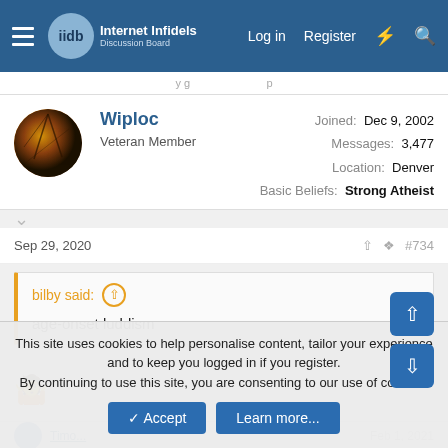Internet Infidels — Log in  Register
Wiploc
Veteran Member
Joined: Dec 9, 2002
Messages: 3,477
Location: Denver
Basic Beliefs: Strong Atheist
Sep 29, 2020  #734
bilby said: ↑
age-onset luddism
[Figure (illustration): Shrug emoticon / emoji face]
This site uses cookies to help personalise content, tailor your experience and to keep you logged in if you register.
By continuing to use this site, you are consenting to our use of cookies.
✓ Accept    Learn more...